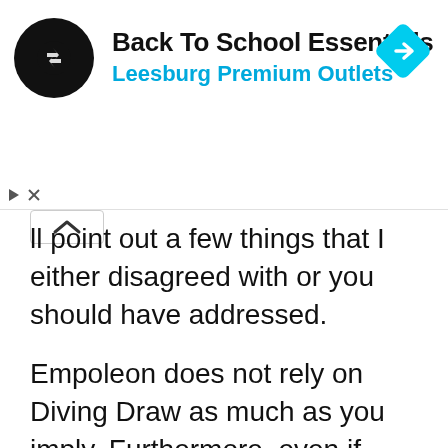[Figure (screenshot): Advertisement banner for 'Back To School Essentials' at Leesburg Premium Outlets with a black circular logo with overlapping arrows, blue subtitle text, and a cyan diamond navigation icon on the right.]
ll point out a few things that I either disagreed with or you should have addressed.
Empoleon does not rely on Diving Draw as much as you imply. Furthermore, even if Empoleon did not have Diving Draw, I think people would still play it. Attack Command is a very, very good attack. I would go as far as to say that it might not be worth playing Garbodor against Empoleon. The benched